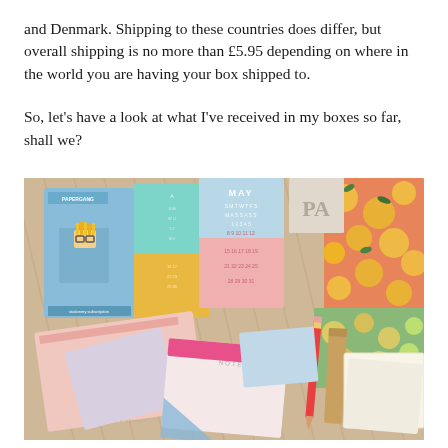and Denmark. Shipping to these countries does differ, but overall shipping is no more than £5.95 depending on where in the world you are having your box shipped to.
So, let's have a look at what I've received in my boxes so far, shall we?
[Figure (photo): A flat lay photograph showing various stationery items including notebooks, notepads, calendars, pencils, and a 'THANK YOU' card with gold lettering, all arranged in and around a box with decorative wrapping paper featuring lemons and floral patterns.]